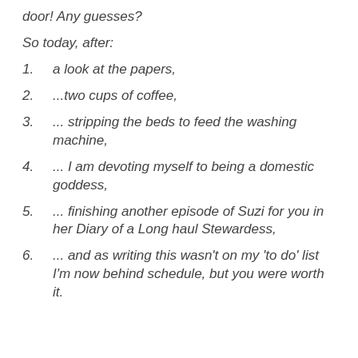door! Any guesses?
So today, after:
1.      a look at the papers,
2.      ...two cups of coffee,
3.     ... stripping the beds to feed the washing machine,
4.     ... I am devoting myself to being a domestic goddess,
5.     ... finishing another episode of Suzi for you in her Diary of a Long haul Stewardess,
6.    ...  and as writing this wasn't on my 'to do' list I'm now behind schedule, but you were worth it.